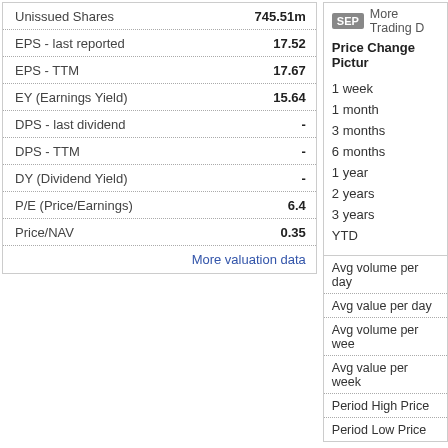|  |  |
| --- | --- |
| Unissued Shares | 745.51m |
| EPS - last reported | 17.52 |
| EPS - TTM | 17.67 |
| EY (Earnings Yield) | 15.64 |
| DPS - last dividend | - |
| DPS - TTM | - |
| DY (Dividend Yield) | - |
| P/E (Price/Earnings) | 6.4 |
| Price/NAV | 0.35 |
More valuation data
SEP More Trading D...
Price Change Pictur...
1 week
1 month
3 months
6 months
1 year
2 years
3 years
YTD
|  |  |
| --- | --- |
| Avg volume per day |  |
| Avg value per day |  |
| Avg volume per wee... |  |
| Avg value per week |  |
| Period High Price |  |
| Period Low Price |  |